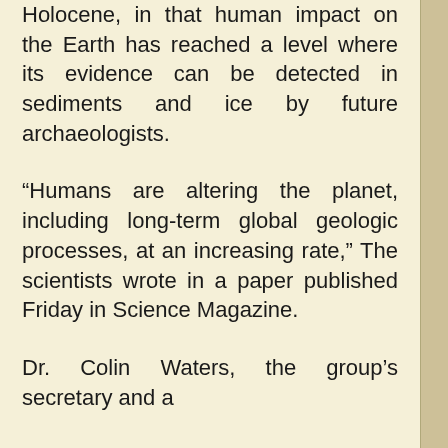Holocene, in that human impact on the Earth has reached a level where its evidence can be detected in sediments and ice by future archaeologists.
“Humans are altering the planet, including long-term global geologic processes, at an increasing rate,” The scientists wrote in a paper published Friday in Science Magazine.
Dr. Colin Waters, the group’s secretary and a